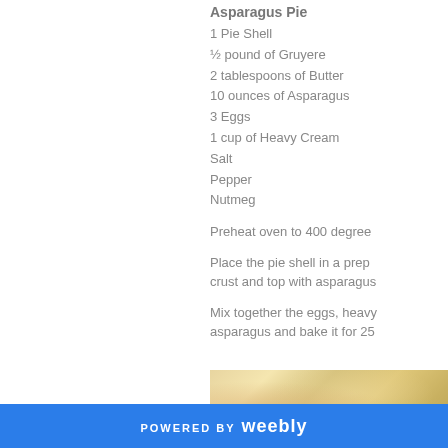Asparagus Pie
1 Pie Shell
½ pound of Gruyere
2 tablespoons of Butter
10 ounces of Asparagus
3 Eggs
1 cup of Heavy Cream
Salt
Pepper
Nutmeg
Preheat oven to 400 degree
Place the pie shell in a prep crust and top with asparagus
Mix together the eggs, heavy asparagus and bake it for 25
[Figure (photo): Photo of asparagus pie dish]
POWERED BY weebly